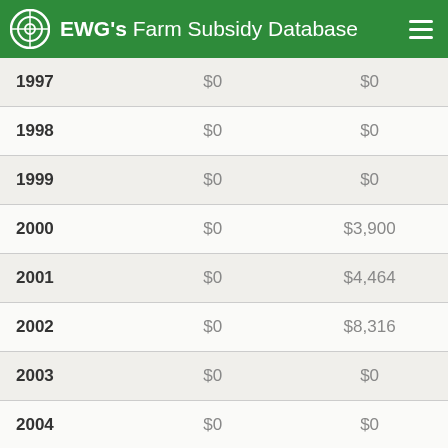EWG's Farm Subsidy Database
| Year | Col2 | Col3 |
| --- | --- | --- |
| 1997 | $0 | $0 |
| 1998 | $0 | $0 |
| 1999 | $0 | $0 |
| 2000 | $0 | $3,900 |
| 2001 | $0 | $4,464 |
| 2002 | $0 | $8,316 |
| 2003 | $0 | $0 |
| 2004 | $0 | $0 |
| 2005 | $0 | $0 |